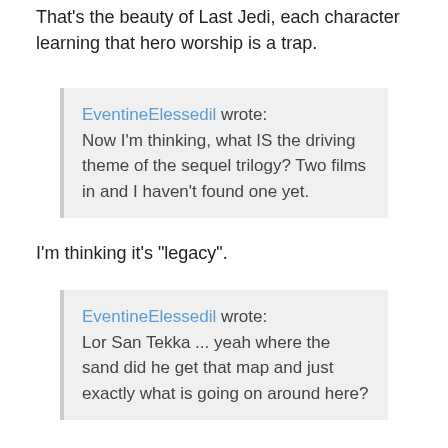That's the beauty of Last Jedi, each character learning that hero worship is a trap.
EventineElessedil wrote: Now I'm thinking, what IS the driving theme of the sequel trilogy? Two films in and I haven't found one yet.
I'm thinking it's "legacy".
EventineElessedil wrote: Lor San Tekka ... yeah where the sand did he get that map and just exactly what is going on around here?
HAN: People who knew him best think he went looking for the first Jedi temple.
That map came from those people who compiled and handed it to Tekka. It's not exactly Luke's location, it's the exact location of that temple. That's why there's a line along the